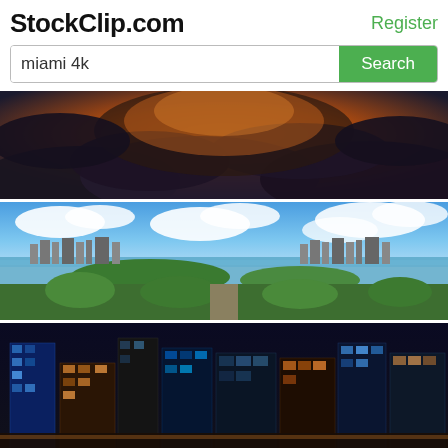StockClip.com
Register
miami 4k
[Figure (photo): Dark stormy sky with dramatic orange and dark clouds at sunset]
[Figure (photo): Aerial view of Miami skyline with Biscayne Bay, islands, and lush green neighborhoods under blue sky with white clouds]
[Figure (photo): Aerial night view of Miami downtown skyscrapers lit up with blue and warm lights]